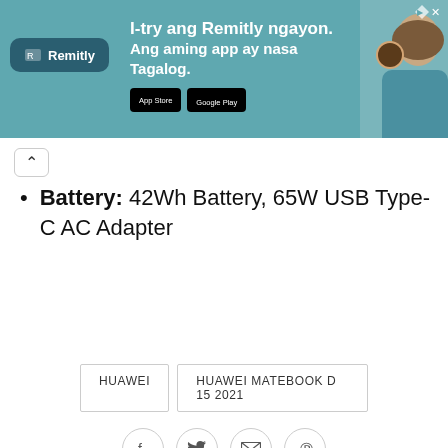[Figure (screenshot): Remitly advertisement banner with teal background, Remitly logo on left, text 'I-try ang Remitly ngayon. Ang aming app ay nasa Tagalog.' in center, App Store and Google Play buttons, photo of people on right, close button top right.]
Battery: 42Wh Battery, 65W USB Type-C AC Adapter
HUAWEI   HUAWEI MATEBOOK D 15 2021
[Figure (screenshot): Social sharing icons: Facebook, Twitter, Email, Pinterest in circular bordered buttons]
[Figure (photo): Partial view of author photo at bottom of page]